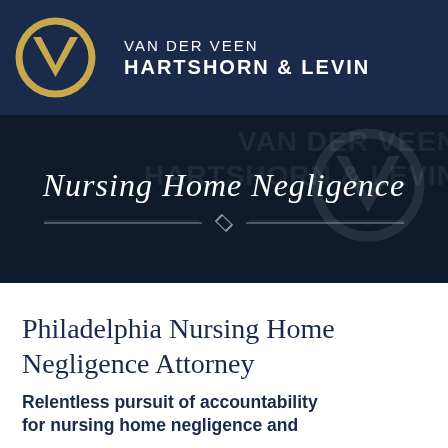[Figure (logo): Van der Veen Hartshorn & Levin law firm header with gold V logo on dark navy background and firm name in white capital letters]
[Figure (illustration): Dark navy banner with italic serif text 'Nursing Home Negligence' centered, decorative divider line with diamond in center, and watermark of firm logo and name in background]
Philadelphia Nursing Home Negligence Attorney
Relentless pursuit of accountability for nursing home negligence and